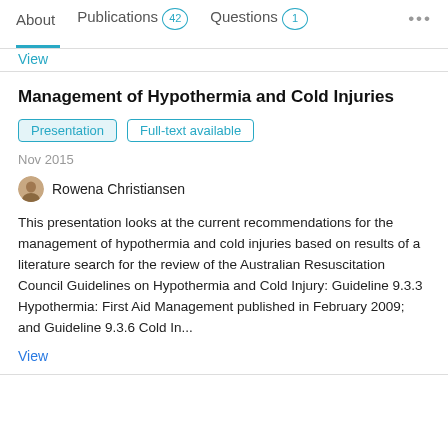About   Publications 42   Questions 1   ...
View
Management of Hypothermia and Cold Injuries
Presentation   Full-text available
Nov 2015
Rowena Christiansen
This presentation looks at the current recommendations for the management of hypothermia and cold injuries based on results of a literature search for the review of the Australian Resuscitation Council Guidelines on Hypothermia and Cold Injury: Guideline 9.3.3 Hypothermia: First Aid Management published in February 2009; and Guideline 9.3.6 Cold In...
View